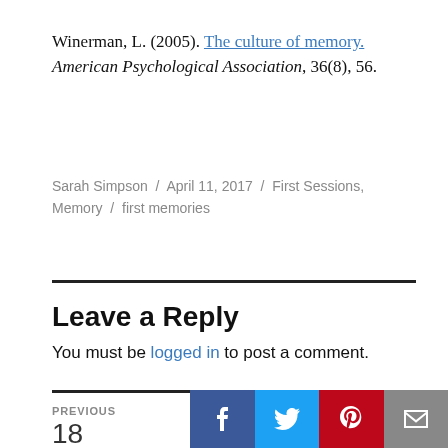Winerman, L. (2005). The culture of memory. American Psychological Association, 36(8), 56.
Sarah Simpson / April 11, 2017 / First Sessions, Memory / first memories
Leave a Reply
You must be logged in to post a comment.
PREVIOUS
18 Shares